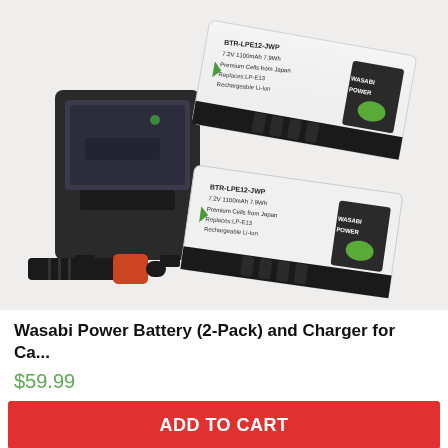[Figure (photo): Product photo showing two Wasabi Power LP-E13 replacement batteries (white rectangular batteries with green Wasabi Power logo) and a black battery charger with a car adapter plug, arranged on a white background.]
Wasabi Power Battery (2-Pack) and Charger for Ca...
$59.99
ADD TO CART